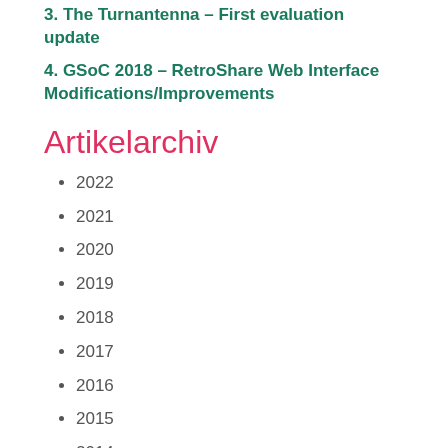3. The Turnantenna – First evaluation update
4. GSoC 2018 – RetroShare Web Interface Modifications/Improvements
Artikelarchiv
2022
2021
2020
2019
2018
2017
2016
2015
2014